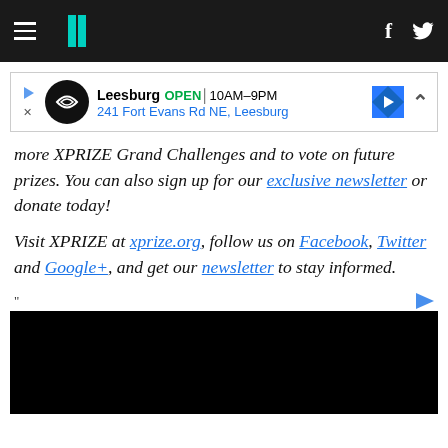HuffPost navigation with hamburger menu, logo, Facebook and Twitter icons
[Figure (other): Advertisement banner for Leesburg store: OPEN 10AM-9PM, 241 Fort Evans Rd NE, Leesburg]
more XPRIZE Grand Challenges and to vote on future prizes. You can also sign up for our exclusive newsletter or donate today!
Visit XPRIZE at xprize.org, follow us on Facebook, Twitter and Google+, and get our newsletter to stay informed.
[Figure (other): Bottom advertisement with dark/black image content]